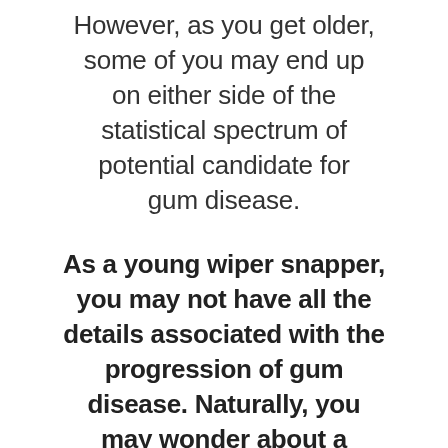However, as you get older, some of you may end up on either side of the statistical spectrum of potential candidate for gum disease.
As a young wiper snapper, you may not have all the details associated with the progression of gum disease. Naturally, you may wonder about a couple of questions.